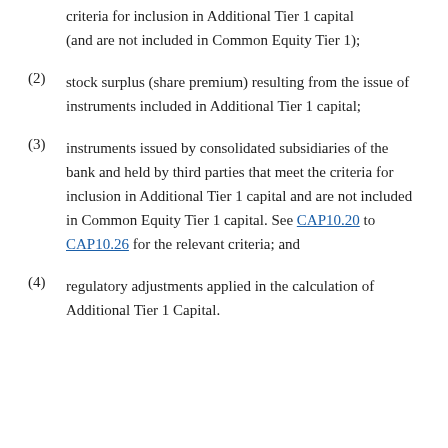(1) instruments issued by the bank and meeting the criteria for inclusion in Additional Tier 1 capital (and are not included in Common Equity Tier 1);
(2) stock surplus (share premium) resulting from the issue of instruments included in Additional Tier 1 capital;
(3) instruments issued by consolidated subsidiaries of the bank and held by third parties that meet the criteria for inclusion in Additional Tier 1 capital and are not included in Common Equity Tier 1 capital. See CAP10.20 to CAP10.26 for the relevant criteria; and
(4) regulatory adjustments applied in the calculation of Additional Tier 1 Capital.